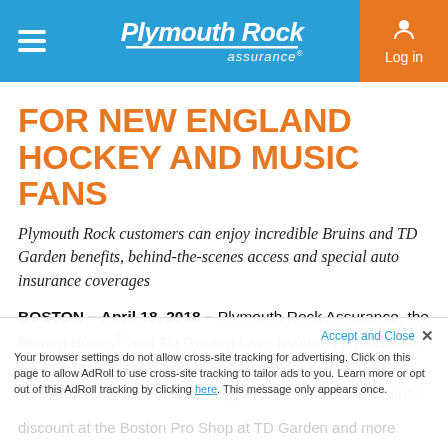Plymouth Rock assurance — Log in
FOR NEW ENGLAND HOCKEY AND MUSIC FANS
Plymouth Rock customers can enjoy incredible Bruins and TD Garden benefits, behind-the-scenes access and special auto insurance coverages
BOSTON – April 18, 2018 – Plymouth Rock Assurance, the Boston Bruins® and TD Garden have teamed up to launch an auto insurance program exclusively for Bruins fans and TD Garden concert and event-goers. In the Boston Bruins® and TD Garden Auto Insurance Program from Plymouth Rock, customers can enjoy special benefits, including discounted ticket offers and a discount at the Boston Pro Shop at TD Garden and more
Your browser settings do not allow cross-site tracking for advertising. Click on this page to allow AdRoll to use cross-site tracking to tailor ads to you. Learn more or opt out of this AdRoll tracking by clicking here. This message only appears once.